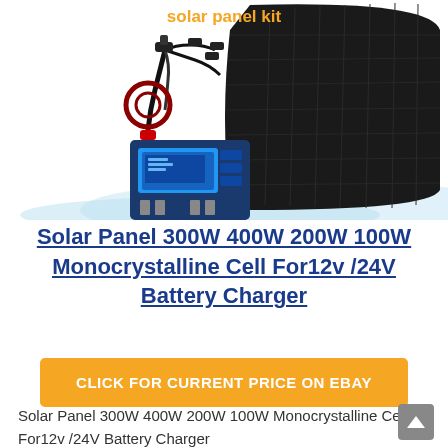[Figure (photo): Product image of a solar panel kit showing flexible solar panel, charge controller, wiring connectors, and cables. Orange text 'solar panel kit' at the top.]
Solar Panel 300W 400W 200W 100W Monocrystalline Cell For12v /24V Battery Charger
CLICK FOR CURRENT PRICE ON EBAY
Solar Panel 300W 400W 200W 100W Monocrystalline Cell For12v /24V Battery Charger